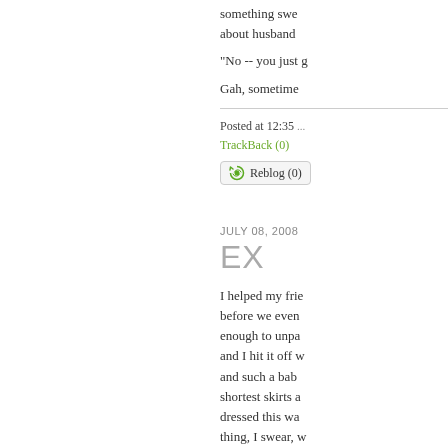something swe... about husband...
"No -- you just g...
Gah, sometime...
Posted at 12:35 ... TrackBack (0)
[Figure (other): Reblog (0) button with recycle icon]
JULY 08, 2008
EX
I helped my frie... before we even... enough to unpa... and I hit it off w... and such a bab... shortest skirts ... dressed this wa... thing, I swear, w... like she had bu...